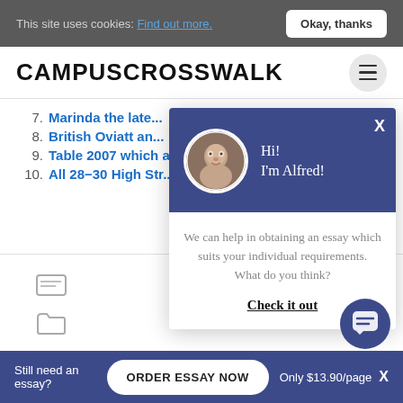This site uses cookies: Find out more. Okay, thanks
CAMPUSCROSSWALK
7. Marinda the late...
8. British Oviatt an...
9. Table 2007 which a...
10. All 28-30 High Str...
[Figure (screenshot): Chat popup with avatar of Alfred, greeting 'Hi! I'm Alfred!' and message 'We can help in obtaining an essay which suits your individual requirements. What do you think?' with 'Check it out' link]
Still need an essay? ORDER ESSAY NOW Only $13.90/page X